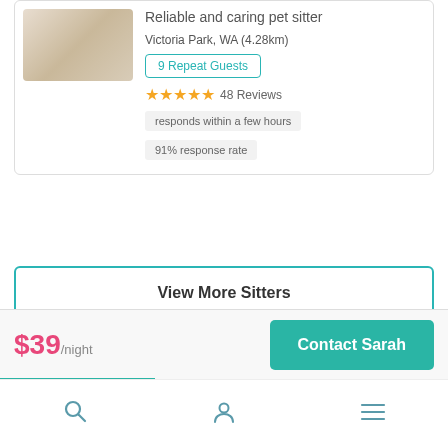[Figure (photo): Photo of a light-colored dog or cat, partially visible in top left corner of card]
Reliable and caring pet sitter
Victoria Park, WA (4.28km)
9 Repeat Guests
48 Reviews
responds within a few hours
91% response rate
View More Sitters
$39/night
Contact Sarah